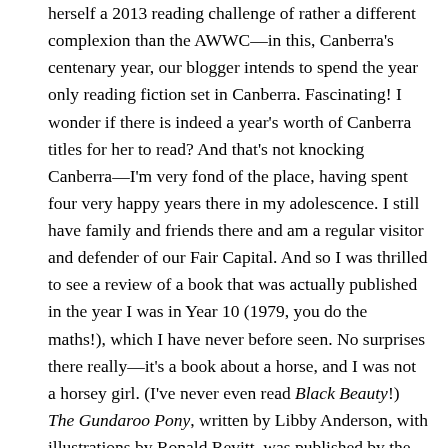herself a 2013 reading challenge of rather a different complexion than the AWWC—in this, Canberra's centenary year, our blogger intends to spend the year only reading fiction set in Canberra. Fascinating! I wonder if there is indeed a year's worth of Canberra titles for her to read? And that's not knocking Canberra—I'm very fond of the place, having spent four very happy years there in my adolescence. I still have family and friends there and am a regular visitor and defender of our Fair Capital. And so I was thrilled to see a review of a book that was actually published in the year I was in Year 10 (1979, you do the maths!), which I have never before seen. No surprises there really—it's a book about a horse, and I was not a horsey girl. (I've never even read Black Beauty!) The Gundaroo Pony, written by Libby Anderson, with illustrations by Ronald Revitt, was published by the Australian National University Press. Our blogger notes that the passage of time may not have dealt all the kindly with the book: